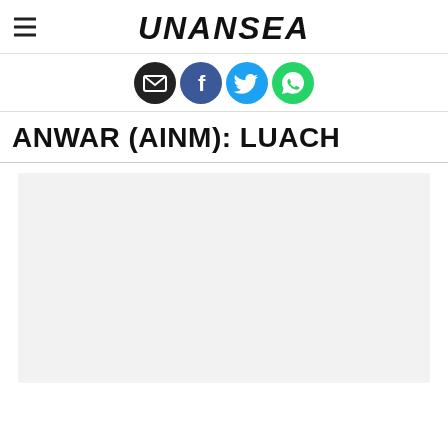UNANSEA
[Figure (illustration): Social media share icons: email (envelope), Facebook (f), Twitter (bird), WhatsApp (phone handset). All circular icons in a row.]
ANWAR (AINM): LUACH
[Figure (other): Large light gray rectangular placeholder content area]